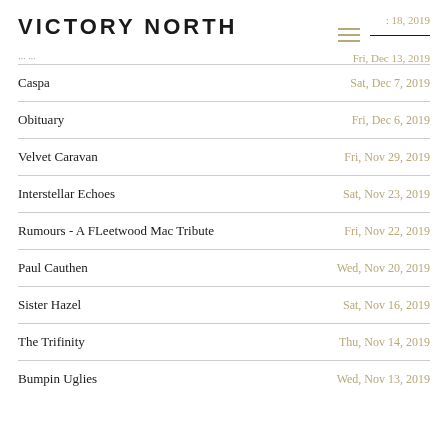VICTORY NORTH  : 18, 2019
Fri, Dec 13, 2019
Caspa  Sat, Dec 7, 2019
Obituary  Fri, Dec 6, 2019
Velvet Caravan  Fri, Nov 29, 2019
Interstellar Echoes  Sat, Nov 23, 2019
Rumours - A FLeetwood Mac Tribute  Fri, Nov 22, 2019
Paul Cauthen  Wed, Nov 20, 2019
Sister Hazel  Sat, Nov 16, 2019
The Trifinity  Thu, Nov 14, 2019
Bumpin Uglies  Wed, Nov 13, 2019